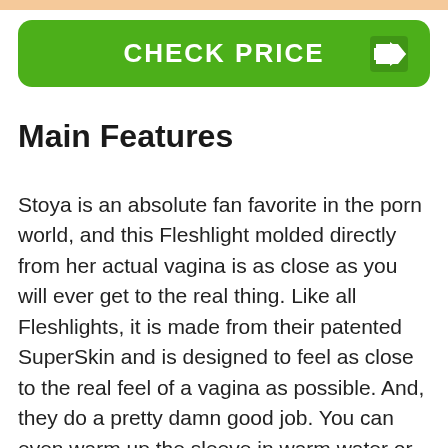[Figure (other): Green button with text CHECK PRICE and right-arrow icon]
Main Features
Stoya is an absolute fan favorite in the porn world, and this Fleshlight molded directly from her actual vagina is as close as you will ever get to the real thing. Like all Fleshlights, it is made from their patented SuperSkin and is designed to feel as close to the real feel of a vagina as possible. And, they do a pretty damn good job. You can even warm up the sleeve in warm water or with the Fleshlight Sleeve Warmer before you play to make it feel